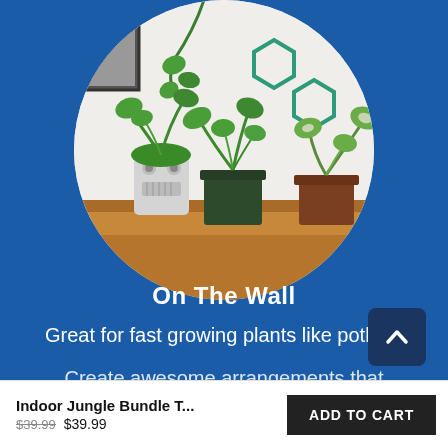[Figure (photo): Circular cropped photo of several potted indoor plants (pothos, ferns, and others) on a wooden shelf against a white wall with teal hexagon decorations]
On The Wall
Great for fast growing plants like pothos.
Create awesome arrangements that
Indoor Jungle Bundle T...
$39.99  $39.99
ADD TO CART